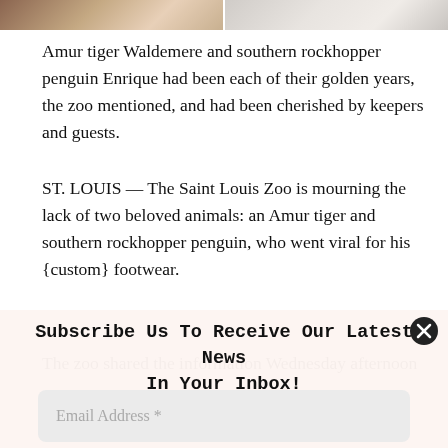[Figure (photo): Two-panel image at the top: left panel shows an Amur tiger (orange/brown tones), right panel shows a southern rockhopper penguin (grey/white tones).]
Amur tiger Waldemere and southern rockhopper penguin Enrique had been each of their golden years, the zoo mentioned, and had been cherished by keepers and guests.
ST. LOUIS — The Saint Louis Zoo is mourning the lack of two beloved animals: an Amur tiger and southern rockhopper penguin, who went viral for his {custom} footwear.
The zoo shared the information Wednesday afternoon
Subscribe Us To Receive Our Latest News In Your Inbox!